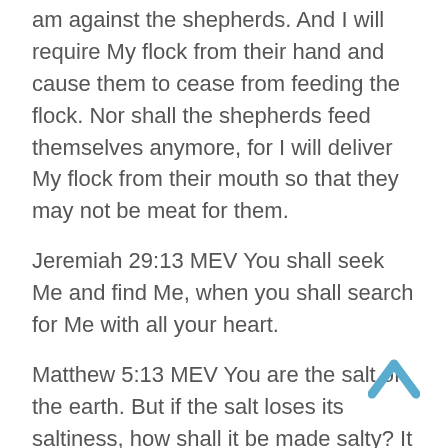am against the shepherds. And I will require My flock from their hand and cause them to cease from feeding the flock. Nor shall the shepherds feed themselves anymore, for I will deliver My flock from their mouth so that they may not be meat for them.
Jeremiah 29:13 MEV You shall seek Me and find Me, when you shall search for Me with all your heart.
Matthew 5:13 MEV You are the salt of the earth. But if the salt loses its saltiness, how shall it be made salty? It is from then on good for nothing but to be thrown out and to be trampled underfoot by men.
Headlines